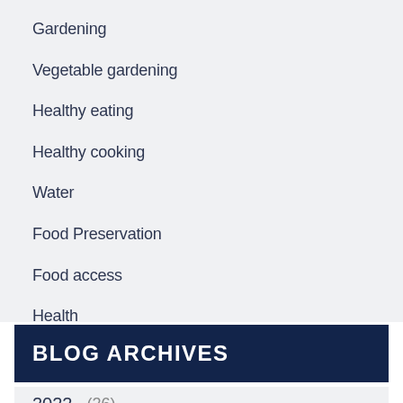Gardening
Vegetable gardening
Healthy eating
Healthy cooking
Water
Food Preservation
Food access
Health
BLOG ARCHIVES
2022  (26)